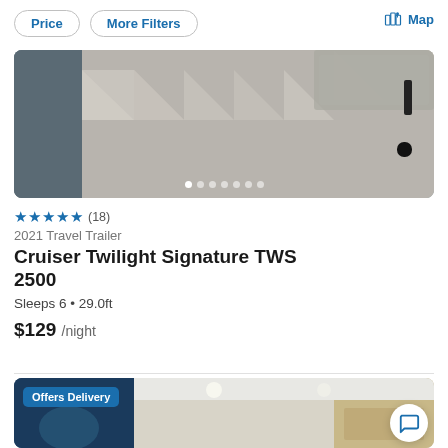Price  More Filters  Map
[Figure (photo): Interior photo of an RV travel trailer showing herringbone/chevron patterned flooring with gray and beige tones, dark cabinetry on the left, carpet area on the upper right, and black door handle on the right side. Image carousel with 7 dot indicators.]
★★★★★ (18)
2021 Travel Trailer
Cruiser Twilight Signature TWS 2500
Sleeps 6 • 29.0ft
$129 /night
[Figure (photo): Interior photo of an RV showing dark teal/blue wall on the left, recessed ceiling lights, beige/tan cabinetry, and 'Offers Delivery' badge in the upper left corner. Chat bubble icon button in lower right.]